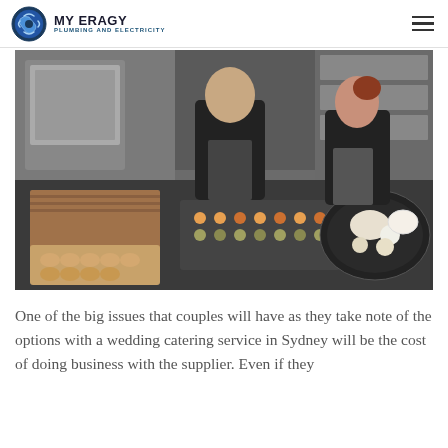MY ERAGY PLUMBING AND ELECTRICITY
[Figure (photo): Two chefs in black aprons working in a professional kitchen, arranging food on trays and platters on a dark countertop. Various dishes including small pastries on the left, canapés on trays in the center, and a large round platter with food on the right.]
One of the big issues that couples will have as they take note of the options with a wedding catering service in Sydney will be the cost of doing business with the supplier. Even if they